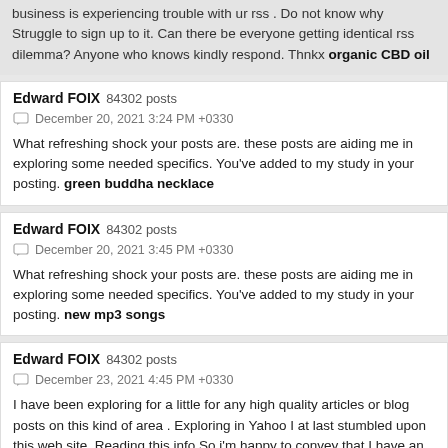business is experiencing trouble with ur rss . Do not know why Struggle to sign up to it. Can there be everyone getting identical rss dilemma? Anyone who knows kindly respond. Thnkx organic CBD oil
Edward FOIX 84302 posts
December 20, 2021 3:24 PM +0330
What refreshing shock your posts are. these posts are aiding me in exploring some needed specifics. You've added to my study in your posting. green buddha necklace
Edward FOIX 84302 posts
December 20, 2021 3:45 PM +0330
What refreshing shock your posts are. these posts are aiding me in exploring some needed specifics. You've added to my study in your posting. new mp3 songs
Edward FOIX 84302 posts
December 23, 2021 4:45 PM +0330
I have been exploring for a little for any high quality articles or blog posts on this kind of area . Exploring in Yahoo I at last stumbled upon this web site. Reading this info So i'm happy to convey that I have an incredibly good uncanny feeling I discovered exactly what I needed. I